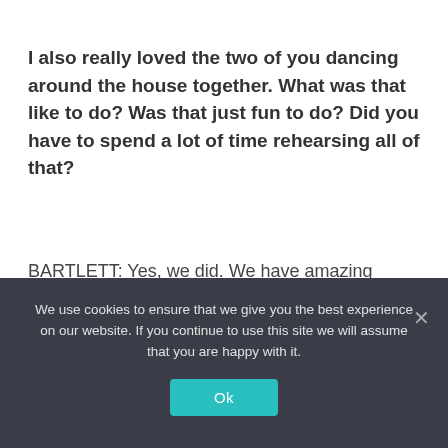I also really loved the two of you dancing around the house together. What was that like to do? Was that just fun to do? Did you have to spend a lot of time rehearsing all of that?
BARTLETT: Yes, we did. We have amazing choreographers on this show, so we had a lot of fun coming up with what that would be. I just love that that
We use cookies to ensure that we give you the best experience on our website. If you continue to use this site we will assume that you are happy with it.